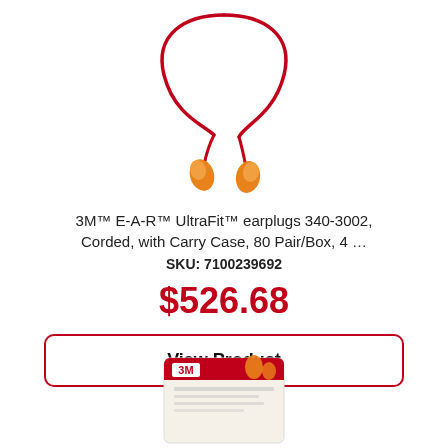[Figure (photo): 3M E-A-R UltraFit corded earplugs with orange foam tips connected by a red cord, shown hanging against white background]
3M™ E-A-R™ UltraFit™ earplugs 340-3002, Corded, with Carry Case, 80 Pair/Box, 4 …
SKU: 7100239692
$526.68
View Product
[Figure (photo): 3M product packaging box partially visible at the bottom of the page]